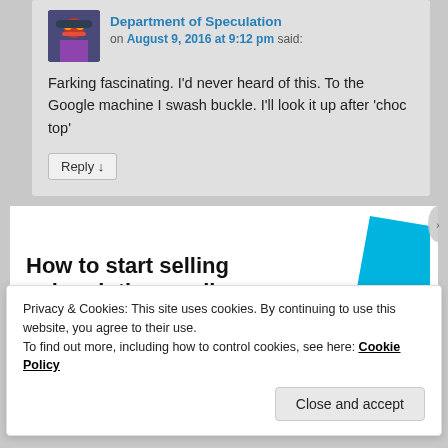Department of Speculation on August 9, 2016 at 9:12 pm said:
Farking fascinating. I'd never heard of this. To the Google machine I swash buckle. I'll look it up after 'choc top'
Reply ↓
[Figure (other): Advertisement banner: How to start selling subscriptions online with a blue geometric shape]
Privacy & Cookies: This site uses cookies. By continuing to use this website, you agree to their use. To find out more, including how to control cookies, see here: Cookie Policy
Close and accept